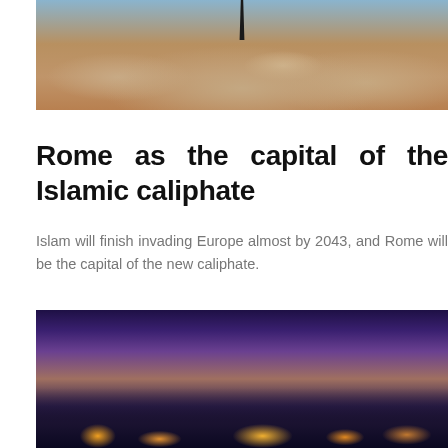[Figure (photo): Aerial or dramatic sky photo showing clouds with a dark object (possibly a minaret or aircraft) visible from above, with warm orange and blue tones]
Rome as the capital of the Islamic caliphate
Islam will finish invading Europe almost by 2043, and Rome will be the capital of the new caliphate.
[Figure (photo): Cityscape photo of Istanbul (or similar city) at dusk/sunset with purple and golden sky, city lights visible along the waterfront, likely the Bosphorus and historic mosques]